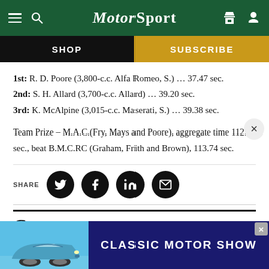MotorSport
1st: R. D. Poore (3,800-c.c. Alfa Romeo, S.) ... 37.47 sec.
2nd: S. H. Allard (3,700-c.c. Allard)  ... 39.20 sec.
3rd: K. McAlpine (3,015-c.c. Maserati, S.) ... 39.38 sec.
Team Prize – M.A.C.(Fry, Mays and Poore), aggregate time 112.43 sec., beat B.M.C.RC (Graham, Frith and Brown), 113.74 sec.
[Figure (other): Social share buttons row: Twitter, Facebook, LinkedIn, Email]
Comments
[Figure (other): Advertisement banner: Classic Motor Show with blue Porsche 911]